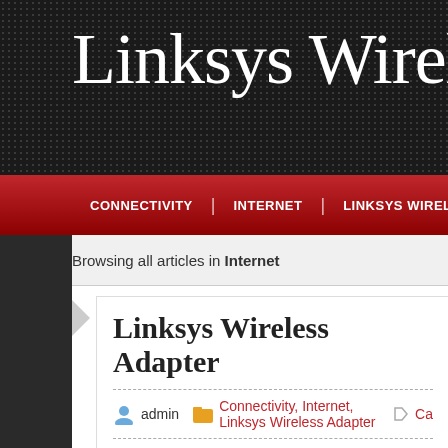Linksys Wireless Ada
CONNECTIVITY | INTERNET | LINKSYS WIRELESS ADAPTER |
Browsing all articles in Internet
Linksys Wireless Adapter
admin   Connectivity, Internet, Linksys Wireless Adapter   Ca
Staying connected is quite important in this modern techn... can only get great connection wherever you go if you hav... quick. With the Linksys wireless adapter, you will never en... net no matter where you are. If it is fast internet access th... with the help of the Linksys wireless adapter. You can purc... you and see the difference a good adapter makes when it co...